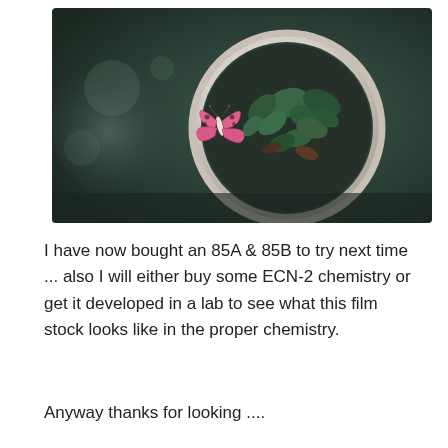[Figure (photo): A top-down photo of a round white ceramic pot filled with small green leafy plants. A decorative pink butterfly ornament perches on the rim of the pot. The background is a dark blurred surface with soft bokeh.]
I have now bought an 85A & 85B to try next time ... also I will either buy some ECN-2 chemistry or get it developed in a lab to see what this film stock looks like in the proper chemistry.
Anyway thanks for looking ....